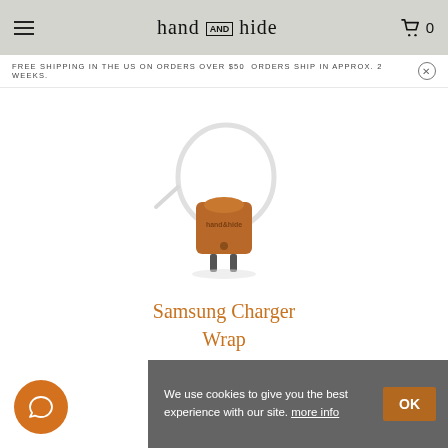hand AND hide  0
FREE SHIPPING IN THE US ON ORDERS OVER $50  ORDERS SHIP IN APPROX. 2 WEEKS.
[Figure (photo): A leather Samsung charger wrap product – brown leather wrap holding a white USB cable and charger plug, with 'hand and hide' embossed on the leather.]
Samsung Charger Wrap
$30.00
We use cookies to give you the best experience with our site.  more info